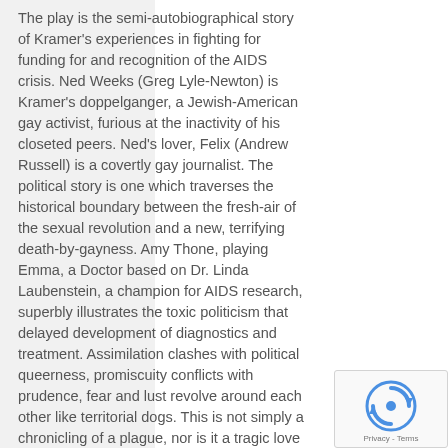The play is the semi-autobiographical story of Kramer's experiences in fighting for funding for and recognition of the AIDS crisis. Ned Weeks (Greg Lyle-Newton) is Kramer's doppelganger, a Jewish-American gay activist, furious at the inactivity of his closeted peers. Ned's lover, Felix (Andrew Russell) is a covertly gay journalist. The political story is one which traverses the historical boundary between the fresh-air of the sexual revolution and a new, terrifying death-by-gayness. Amy Thone, playing Emma, a Doctor based on Dr. Linda Laubenstein, a champion for AIDS research, superbly illustrates the toxic politicism that delayed development of diagnostics and treatment. Assimilation clashes with political queerness, promiscuity conflicts with prudence, fear and lust revolve around each other like territorial dogs. This is not simply a chronicling of a plague, nor is it a tragic love story. The script is elegant in its depiction of real people and of the uncomfortable truth that the world does not
[Figure (other): reCAPTCHA widget with spinning arrows logo and 'Privacy - Terms' text]